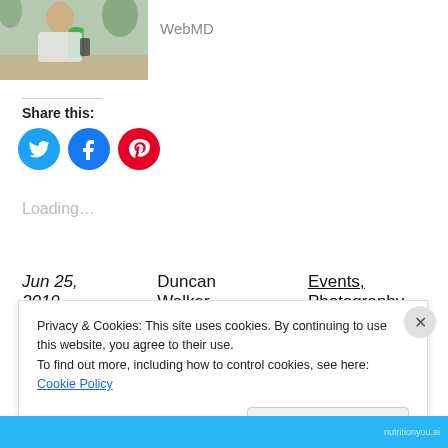[Figure (photo): Woman sitting at a table drinking a green smoothie and looking at her phone]
WebMD
Share this:
[Figure (infographic): Social share buttons: Twitter (blue), Facebook (blue), Pinterest (red)]
Loading…
Jun 25, 2019    Duncan Walker    Events, Photography
Privacy & Cookies: This site uses cookies. By continuing to use this website, you agree to their use.
To find out more, including how to control cookies, see here: Cookie Policy
Close and accept